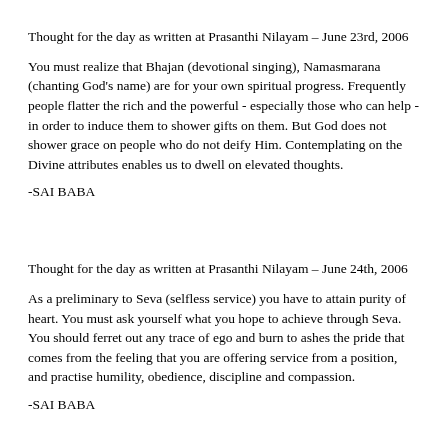Thought for the day as written at Prasanthi Nilayam – June 23rd, 2006
You must realize that Bhajan (devotional singing), Namasmarana (chanting God's name) are for your own spiritual progress. Frequently people flatter the rich and the powerful - especially those who can help - in order to induce them to shower gifts on them. But God does not shower grace on people who do not deify Him. Contemplating on the Divine attributes enables us to dwell on elevated thoughts.
-SAI BABA
Thought for the day as written at Prasanthi Nilayam – June 24th, 2006
As a preliminary to Seva (selfless service) you have to attain purity of heart. You must ask yourself what you hope to achieve through Seva. You should ferret out any trace of ego and burn to ashes the pride that comes from the feeling that you are offering service from a position, and practise humility, obedience, discipline and compassion.
-SAI BABA